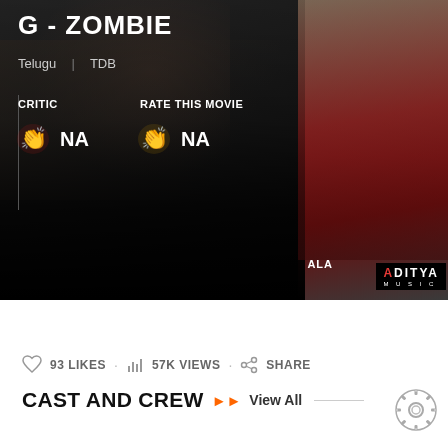[Figure (screenshot): Movie banner for G-ZOMBIE showing dark background with person's arms/hands, right side shows maroon/red background, Aditya Music logo bottom right]
G - ZOMBIE
Telugu | TDB
CRITIC
NA
RATE THIS MOVIE
NA
ALA
ADITYA MUSIC
93 LIKES · 57K VIEWS · SHARE
CAST AND CREW
View All